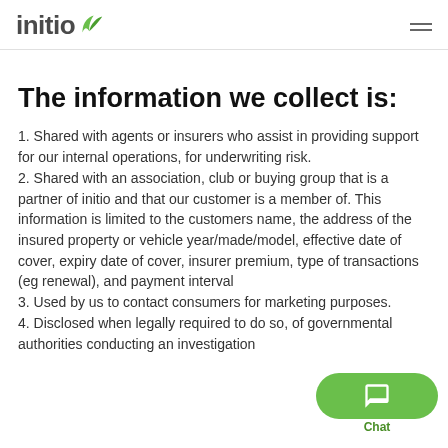initio
The information we collect is:
1. Shared with agents or insurers who assist in providing support for our internal operations, for underwriting risk.
2. Shared with an association, club or buying group that is a partner of initio and that our customer is a member of. This information is limited to the customers name, the address of the insured property or vehicle year/made/model, effective date of cover, expiry date of cover, insurer premium, type of transactions (eg renewal), and payment interval
3. Used by us to contact consumers for marketing purposes.
4. Disclosed when legally required to do so, of governmental authorities conducting an investigation